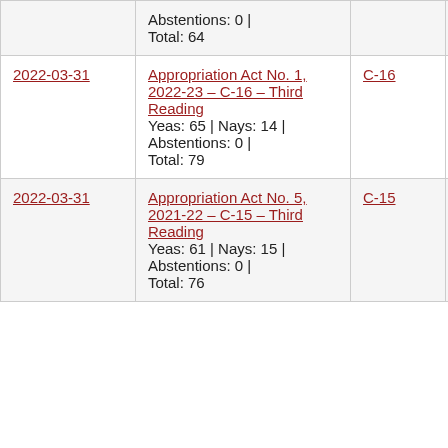| Date | Description | Bill | Result |  |
| --- | --- | --- | --- | --- |
|  | Abstentions: 0 | Total: 64 |  |  |  |
| 2022-03-31 | Appropriation Act No. 1, 2022-23 – C-16 – Third Reading
Yeas: 65 | Nays: 14 | Abstentions: 0 | Total: 79 | C-16 | Adopted | Y |
| 2022-03-31 | Appropriation Act No. 5, 2021-22 – C-15 – Third Reading
Yeas: 61 | Nays: 15 | Abstentions: 0 | Total: 76 | C-15 | Adopted | Y |